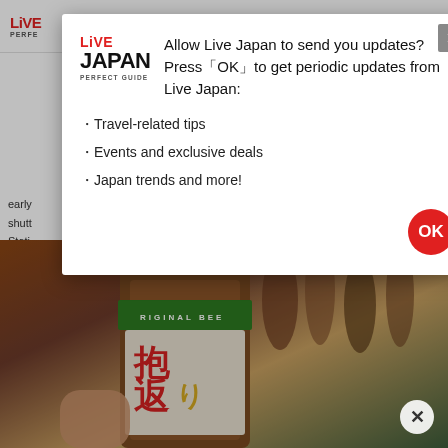LIVE JAPAN PERFECT GUIDE
early ... shutt ... Stati ... special performances.
[Figure (screenshot): Modal dialog from Live Japan Perfect Guide website asking permission to send push notifications. Contains Live Japan logo, text asking to allow updates, a list of update types (Travel-related tips, Events and exclusive deals, Japan trends and more!), and an OK button.]
[Figure (photo): Close-up photo of a Japanese beer bottle (抱き返りビール / Dakigaeri Beer) with Japanese text label in red and yellow, held by a hand, with more bottles blurred in the background.]